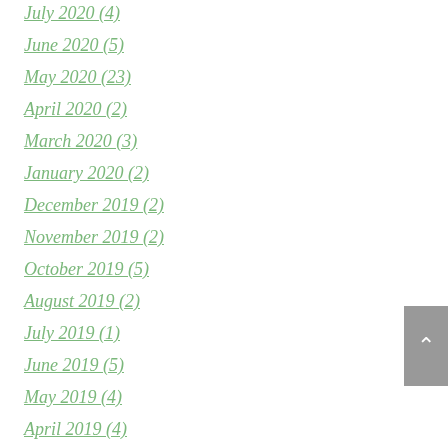July 2020 (4)
June 2020 (5)
May 2020 (23)
April 2020 (2)
March 2020 (3)
January 2020 (2)
December 2019 (2)
November 2019 (2)
October 2019 (5)
August 2019 (2)
July 2019 (1)
June 2019 (5)
May 2019 (4)
April 2019 (4)
March 2019 (5)
February 2019 (4)